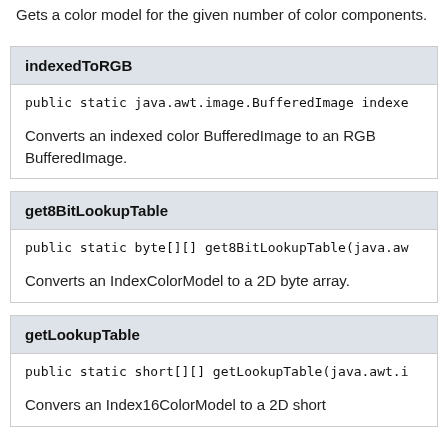Gets a color model for the given number of color components.
indexedToRGB
public static java.awt.image.BufferedImage indexe...
Converts an indexed color BufferedImage to an RGB BufferedImage.
get8BitLookupTable
public static byte[][] get8BitLookupTable(java.aw...
Converts an IndexColorModel to a 2D byte array.
getLookupTable
public static short[][] getLookupTable(java.awt.i...
Convers an Index16ColorModel to a 2D short